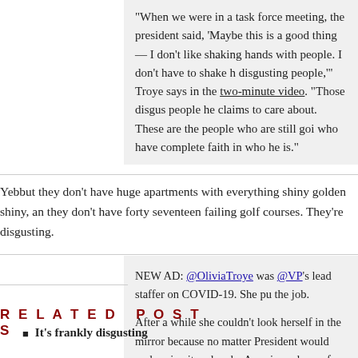"When we were in a task force meeting, the president said, 'Maybe this is a good thing — I don't like shaking hands with people. I don't have to shake hands with these disgusting people,'" Troye says in the two-minute video. "Those disgusting people are the people he claims to care about. These are the people who are still going to his rally who have complete faith in who he is."
Yebbut they don't have huge apartments with everything shiny golden shiny, and they don't have forty seventeen failing golf courses. They're disgusting.
NEW AD: @OliviaTroye was @VP's lead staffer on COVID-19. She put everything into the job.

After a while she couldn't look herself in the mirror because no matter what they did, the President would undermine it and make Americans less safe.

Now she's a GOP voter for Biden. pic.twitter.com/ZIJIRUzArG

— Republican Voters Against Trump (@RVAT2020) September 17, 20...
Related Posts
It's frankly disgusting